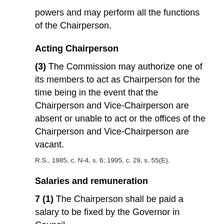powers and may perform all the functions of the Chairperson.
Acting Chairperson
(3) The Commission may authorize one of its members to act as Chairperson for the time being in the event that the Chairperson and Vice-Chairperson are absent or unable to act or the offices of the Chairperson and Vice-Chairperson are vacant.
R.S., 1985, c. N-4, s. 6;   1995, c. 29, s. 55(E).
Salaries and remuneration
7 (1) The Chairperson shall be paid a salary to be fixed by the Governor in Council.
Idem
(2) The Governor in Council may authorize the payment of allowances or other remuneration to the Vice-Chairperson and to any other member having